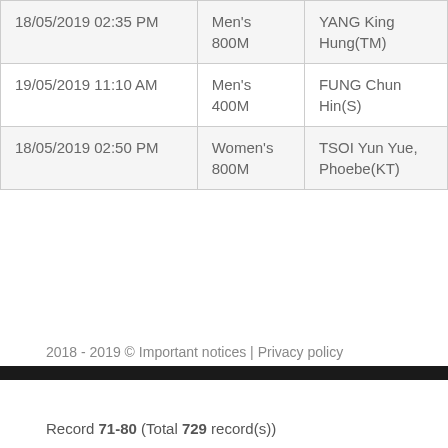| 18/05/2019 02:35 PM | Men's 800M | YANG King Hung(TM) |
| 19/05/2019 11:10 AM | Men's 400M | FUNG Chun Hin(S) |
| 18/05/2019 02:50 PM | Women's 800M | TSOI Yun Yue, Phoebe(KT) |
Record 71-80 (Total 729 record(s))
2018 - 2019 © Important notices | Privacy policy